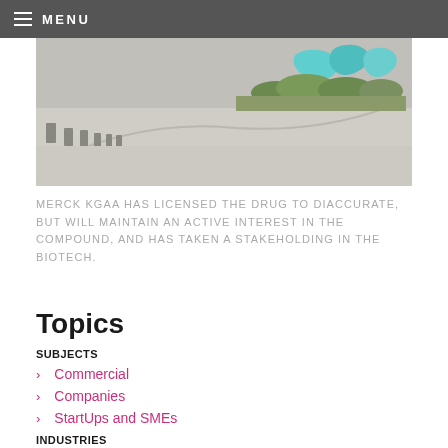MENU
[Figure (photo): Aerial or ground-level view of a curved roadway or pathway with concrete bollards on the left, landscaping with teal/blue sculptural signage on the right]
MERCK KGAA HAS LICENSED THE DRUG TO DIACCURATE, BUT WILL MAINTAIN AN ACTIVE INTEREST IN THE COMPOUND, AND HAS TAKEN A STAKEHOLDING IN THE BIOTECH.
Topics
SUBJECTS
Commercial
Companies
StartUps and SMEs
INDUSTRIES
BioPharmaceutical